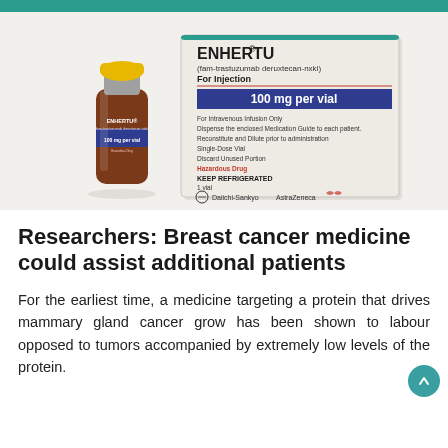[Figure (photo): Photograph of ENHERTU (fam-trastuzumab deruxtecan-nxki) drug vial and packaging box. The vial has a yellow cap and purple label. The box shows product name, 100 mg per vial, usage instructions, hazardous drug warning, keep refrigerated notice, and Daiichi-Sankyo / AstraZeneca branding.]
Researchers: Breast cancer medicine could assist additional patients
For the earliest time, a medicine targeting a protein that drives mammary gland cancer grow has been shown to labour opposed to tumors accompanied by extremely low levels of the protein.